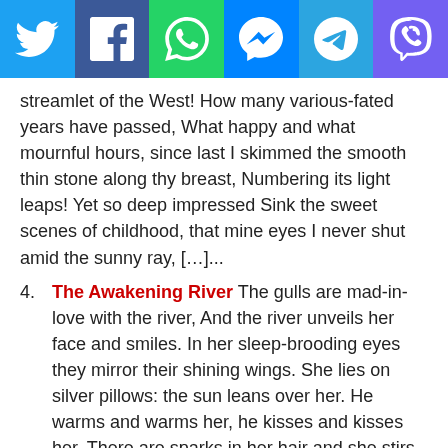[Figure (other): Social media sharing icon bar with Twitter, Facebook, WhatsApp, Messenger, Telegram, and Viber icons]
streamlet of the West! How many various-fated years have passed, What happy and what mournful hours, since last I skimmed the smooth thin stone along thy breast, Numbering its light leaps! Yet so deep impressed Sink the sweet scenes of childhood, that mine eyes I never shut amid the sunny ray, […]...
4. The Awakening River The gulls are mad-in-love with the river, And the river unveils her face and smiles. In her sleep-brooding eyes they mirror their shining wings. She lies on silver pillows: the sun leans over her. He warms and warms her, he kisses and kisses her. There are sparks in her hair and she stirs in laughter. […]...
5. To the River Charles River! that in silence windest